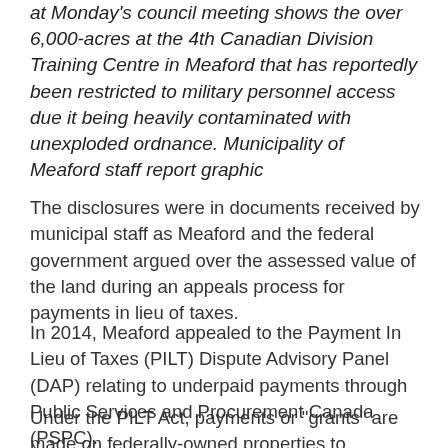at Monday's council meeting shows the over 6,000-acres at the 4th Canadian Division Training Centre in Meaford that has reportedly been restricted to military personnel access due it being heavily contaminated with unexploded ordnance. Municipality of Meaford staff report graphic
The disclosures were in documents received by municipal staff as Meaford and the federal government argued over the assessed value of the land during an appeals process for payments in lieu of taxes.
In 2014, Meaford appealed to the Payment In Lieu of Taxes (PILT) Dispute Advisory Panel (DAP) relating to underpaid payments through Public Services and Procurement Canada (PSPC).
Under the PILT Act, payments or "grants" are made on federally-owned properties to municipalities for